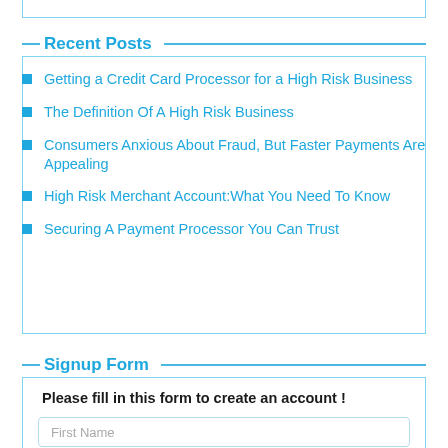Recent Posts
Getting a Credit Card Processor for a High Risk Business
The Definition Of A High Risk Business
Consumers Anxious About Fraud, But Faster Payments Are Appealing
High Risk Merchant Account:What You Need To Know
Securing A Payment Processor You Can Trust
Signup Form
Please fill in this form to create an account !
First Name